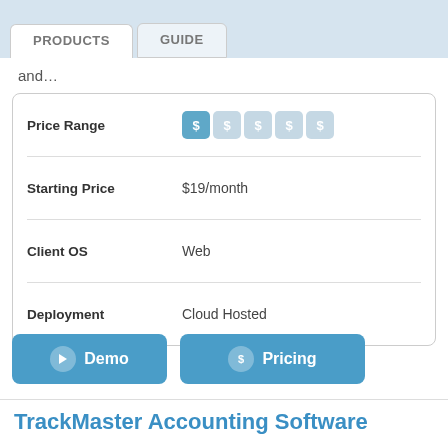PRODUCTS | GUIDE
and…
|  |  |
| --- | --- |
| Price Range | $ $ $ $ $ |
| Starting Price | $19/month |
| Client OS | Web |
| Deployment | Cloud Hosted |
[Figure (other): Demo button with cursor icon]
[Figure (other): Pricing button with dollar sign icon]
TrackMaster Accounting Software
Quality, Flexibility, Easy Customization, Savings Don't pay for accounting software features you don't need. Don't pay a